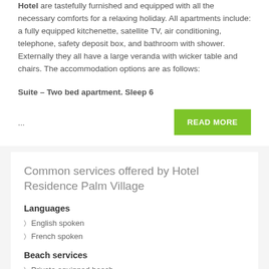Hotel are tastefully furnished and equipped with all the necessary comforts for a relaxing holiday. All apartments include: a fully equipped kitchenette, satellite TV, air conditioning, telephone, safety deposit box, and bathroom with shower. Externally they all have a large veranda with wicker table and chairs. The accommodation options are as follows:
Suite – Two bed apartment. Sleep 6
...
Common services offered by Hotel Residence Palm Village
Languages
English spoken
French spoken
Beach services
Private equipped beach
Beach Bar